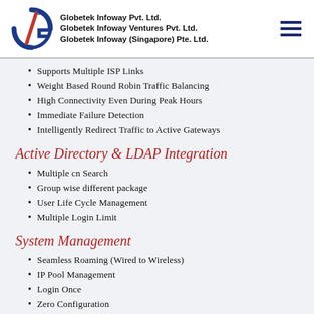Globetek Infoway Pvt. Ltd. | Globetek Infoway Ventures Pvt. Ltd. | Globetek Infoway (Singapore) Pte. Ltd.
Supports Multiple ISP Links
Weight Based Round Robin Traffic Balancing
High Connectivity Even During Peak Hours
Immediate Failure Detection
Intelligently Redirect Traffic to Active Gateways
Active Directory & LDAP Integration
Multiple cn Search
Group wise different package
User Life Cycle Management
Multiple Login Limit
System Management
Seamless Roaming (Wired to Wireless)
IP Pool Management
Login Once
Zero Configuration
DHCP and DNS